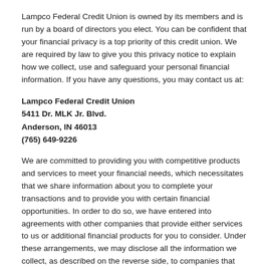Lampco Federal Credit Union is owned by its members and is run by a board of directors you elect. You can be confident that your financial privacy is a top priority of this credit union. We are required by law to give you this privacy notice to explain how we collect, use and safeguard your personal financial information. If you have any questions, you may contact us at:
Lampco Federal Credit Union
5411 Dr. MLK Jr. Blvd.
Anderson, IN 46013
(765) 649-9226
We are committed to providing you with competitive products and services to meet your financial needs, which necessitates that we share information about you to complete your transactions and to provide you with certain financial opportunities. In order to do so, we have entered into agreements with other companies that provide either services to us or additional financial products for you to consider. Under these arrangements, we may disclose all the information we collect, as described on the reverse side, to companies that perform marketing or other services on our behalf or to other financial institutions with whom we have joint